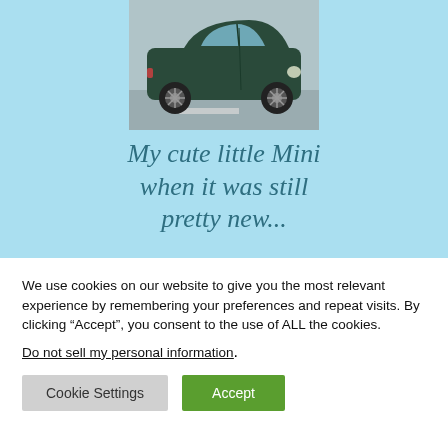[Figure (photo): Photo of a dark green Mini Cooper car viewed from the side, parked on a street with a concrete sidewalk visible.]
My cute little Mini when it was still pretty new...
We use cookies on our website to give you the most relevant experience by remembering your preferences and repeat visits. By clicking “Accept”, you consent to the use of ALL the cookies.
Do not sell my personal information.